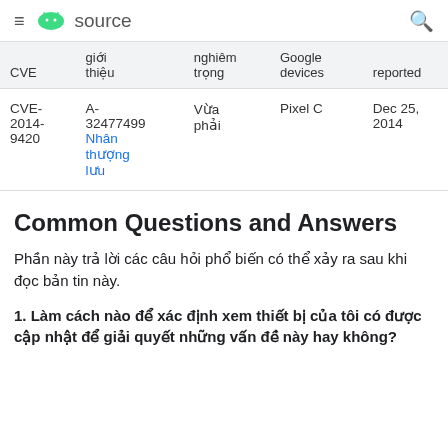≡ source 🔍
| CVE | giới thiệu | nghiêm trọng | Google devices | reported |
| --- | --- | --- | --- | --- |
| CVE-2014-9420 | A-32477499 Nhân thượng lưu | Vừa phải | Pixel C | Dec 25, 2014 |
Common Questions and Answers
Phần này trả lời các câu hỏi phổ biến có thể xảy ra sau khi đọc bản tin này.
1. Làm cách nào để xác định xem thiết bị của tôi có được cập nhật để giải quyết những vấn đề này hay không?